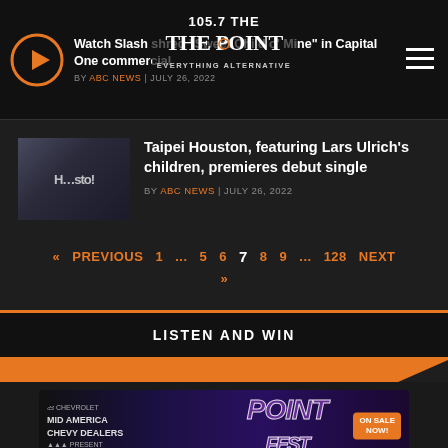105.7 The Point – Everything Alternative
Watch Slash shred "Sweet Child o' Mine" in Capital One commercial
BY ABC NEWS | JULY 26, 2022
Taipei Houston, featuring Lars Ulrich's children, premieres debut single
BY ABC NEWS | JULY 26, 2022
« PREVIOUS  1  ...  5  6  7  8  9  ...  128  NEXT »
LISTEN AND WIN
[Figure (photo): Mid America Chevy Dealers present concert event promotional banner with purple stylized text and 'ON SALE NOW!' badge]